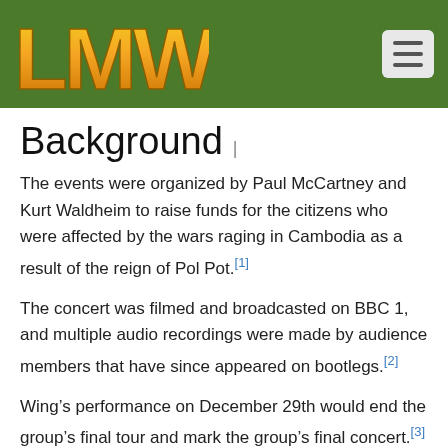LMW logo and navigation menu
Background
The events were organized by Paul McCartney and Kurt Waldheim to raise funds for the citizens who were affected by the wars raging in Cambodia as a result of the reign of Pol Pot.[1]
The concert was filmed and broadcasted on BBC 1, and multiple audio recordings were made by audience members that have since appeared on bootlegs.[2]
Wing’s performance on December 29th would end the group’s final tour and mark the group’s final concert.[3]
Setlist[4]